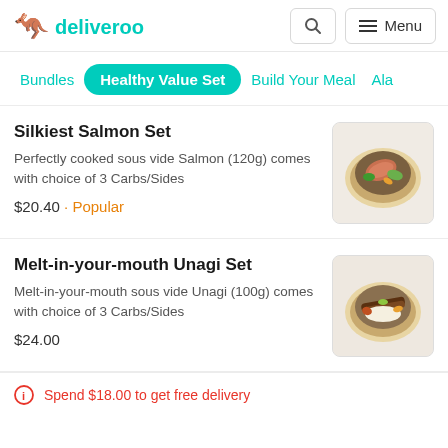[Figure (logo): Deliveroo logo with teal kangaroo icon and teal 'deliveroo' wordmark, search button, and Menu button in header]
Bundles
Healthy Value Set (active/selected)
Build Your Meal
Ala
Silkiest Salmon Set
Perfectly cooked sous vide Salmon (120g) comes with choice of 3 Carbs/Sides
$20.40 · Popular
Melt-in-your-mouth Unagi Set
Melt-in-your-mouth sous vide Unagi (100g) comes with choice of 3 Carbs/Sides
$24.00
Spend $18.00 to get free delivery